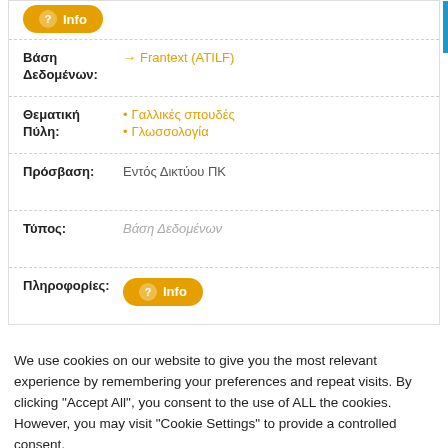| Βάση Δεδομένων: | → Frantext (ATILF) |
| Θεματική Πύλη: | • Γαλλικές σπουδές
• Γλωσσολογία |
| Πρόσβαση: | Εντός Δικτύου ΠΚ |
| Τύπος: | Βάση Δεδομένων |
| Πληροφορίες: | Info |
We use cookies on our website to give you the most relevant experience by remembering your preferences and repeat visits. By clicking "Accept All", you consent to the use of ALL the cookies. However, you may visit "Cookie Settings" to provide a controlled consent.
Cookie Settings
Accept All
Reject All